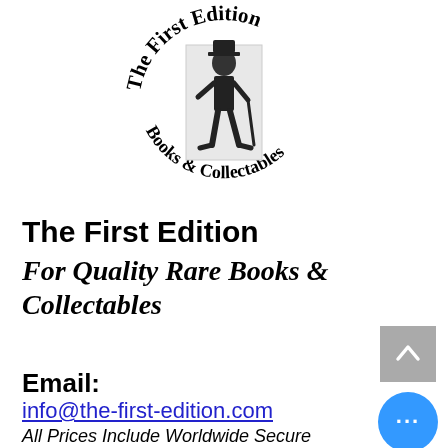[Figure (logo): Circular logo for 'The First Edition Books & Collectables' featuring text arranged in an arc around a central image of Charlie Chaplin figure in black and white]
The First Edition
For Quality Rare Books & Collectables
Email:
info@the-first-edition.com
All Prices Include Worldwide Secure Tracked Postage